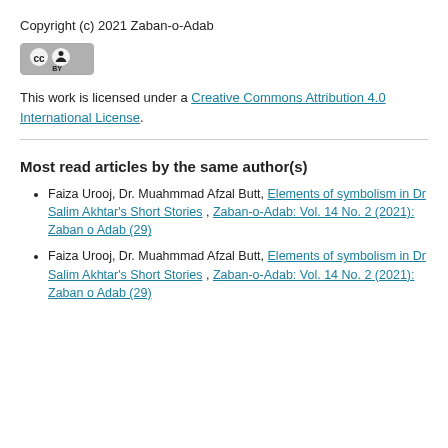Copyright (c) 2021 Zaban-o-Adab
[Figure (logo): Creative Commons BY license badge — grey rectangle with CC and person icons and BY text]
This work is licensed under a Creative Commons Attribution 4.0 International License.
Most read articles by the same author(s)
Faiza Urooj, Dr. Muahmmad Afzal Butt, Elements of symbolism in Dr Salim Akhtar's Short Stories , Zaban-o-Adab: Vol. 14 No. 2 (2021): Zaban o Adab (29)
Faiza Urooj, Dr. Muahmmad Afzal Butt, Elements of symbolism in Dr Salim Akhtar's Short Stories , Zaban-o-Adab: Vol. 14 No. 2 (2021): Zaban o Adab (29)